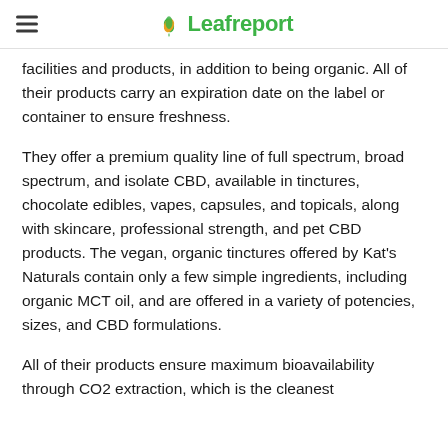Leafreport
facilities and products, in addition to being organic. All of their products carry an expiration date on the label or container to ensure freshness.
They offer a premium quality line of full spectrum, broad spectrum, and isolate CBD, available in tinctures, chocolate edibles, vapes, capsules, and topicals, along with skincare, professional strength, and pet CBD products. The vegan, organic tinctures offered by Kat's Naturals contain only a few simple ingredients, including organic MCT oil, and are offered in a variety of potencies, sizes, and CBD formulations.
All of their products ensure maximum bioavailability through CO2 extraction, which is the cleanest